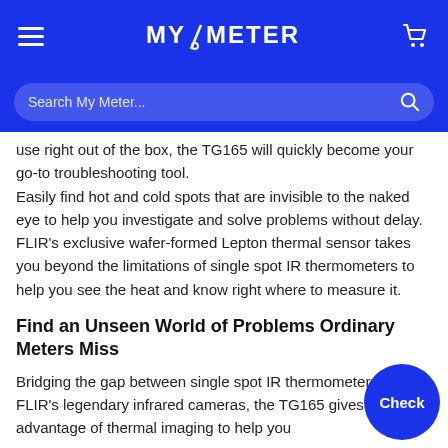MY/METER
Search My Meter...
use right out of the box, the TG165 will quickly become your go-to troubleshooting tool. Easily find hot and cold spots that are invisible to the naked eye to help you investigate and solve problems without delay. FLIR's exclusive wafer-formed Lepton thermal sensor takes you beyond the limitations of single spot IR thermometers to help you see the heat and know right where to measure it.
Find an Unseen World of Problems Ordinary Meters Miss
Bridging the gap between single spot IR thermometers and FLIR's legendary infrared cameras, the TG165 gives you the advantage of thermal imaging to help you